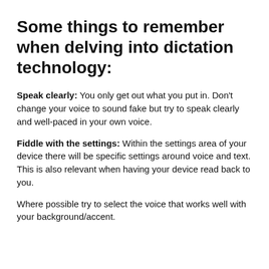Some things to remember when delving into dictation technology:
Speak clearly: You only get out what you put in. Don't change your voice to sound fake but try to speak clearly and well-paced in your own voice.
Fiddle with the settings: Within the settings area of your device there will be specific settings around voice and text. This is also relevant when having your device read back to you.
Where possible try to select the voice that works well with your background/accent.